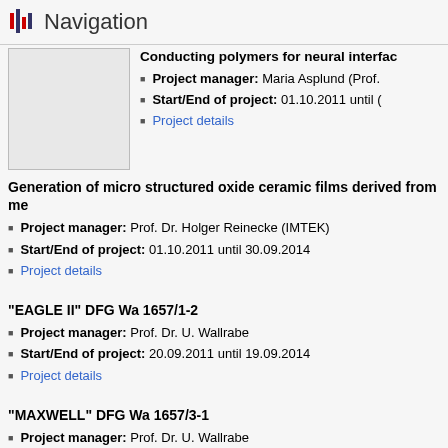Navigation
Conducting polymers for neural interfaces...
Project manager: Maria Asplund (Prof....
Start/End of project: 01.10.2011 until ...
Project details
[Figure (photo): Image placeholder box (light gray)]
Generation of micro structured oxide ceramic films derived from me...
Project manager: Prof. Dr. Holger Reinecke (IMTEK)
Start/End of project: 01.10.2011 until 30.09.2014
Project details
"EAGLE II" DFG Wa 1657/1-2
Project manager: Prof. Dr. U. Wallrabe
Start/End of project: 20.09.2011 until 19.09.2014
Project details
"MAXWELL" DFG Wa 1657/3-1
Project manager: Prof. Dr. U. Wallrabe
Start/End of project: 07.09.2011 until 06.09.2014...